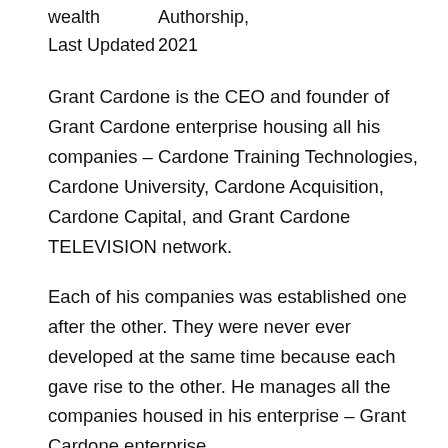wealth    Authorship,
Last Updated    2021
Grant Cardone is the CEO and founder of Grant Cardone enterprise housing all his companies – Cardone Training Technologies, Cardone University, Cardone Acquisition, Cardone Capital, and Grant Cardone TELEVISION network.
Each of his companies was established one after the other. They were never ever developed at the same time because each gave rise to the other. He manages all the companies housed in his enterprise – Grant Cardone enterprise.
Every year, the enterprise records the sum total of